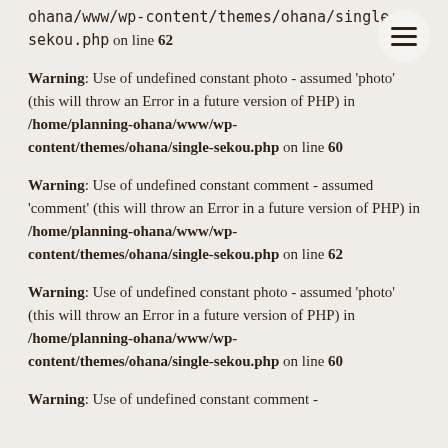ohana/www/wp-content/themes/ohana/single-sekou.php on line 62
Warning: Use of undefined constant photo - assumed 'photo' (this will throw an Error in a future version of PHP) in /home/planning-ohana/www/wp-content/themes/ohana/single-sekou.php on line 60
Warning: Use of undefined constant comment - assumed 'comment' (this will throw an Error in a future version of PHP) in /home/planning-ohana/www/wp-content/themes/ohana/single-sekou.php on line 62
Warning: Use of undefined constant photo - assumed 'photo' (this will throw an Error in a future version of PHP) in /home/planning-ohana/www/wp-content/themes/ohana/single-sekou.php on line 60
Warning: Use of undefined constant comment -